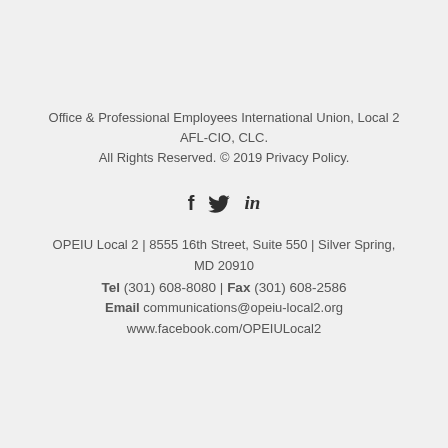Office & Professional Employees International Union, Local 2 AFL-CIO, CLC. All Rights Reserved. © 2019 Privacy Policy.
[Figure (illustration): Social media icons: Facebook (f), Twitter (bird), LinkedIn (in)]
OPEIU Local 2 | 8555 16th Street, Suite 550 | Silver Spring, MD 20910 Tel (301) 608-8080 | Fax (301) 608-2586 Email communications@opeiu-local2.org www.facebook.com/OPEIULocal2